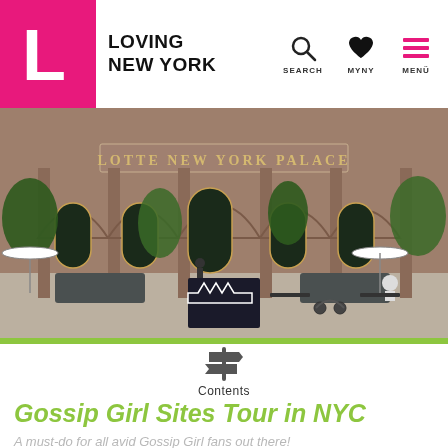LOVING NEW YORK — SEARCH | MYNY | MENÜ
[Figure (photo): Exterior of the Lotte New York Palace hotel, showing grand arched stone facade with gold-framed doors, green trees, and outdoor seating area with people.]
Contents
Gossip Girl Sites Tour in NYC
A must-do for all avid Gossip Girl fans out there!